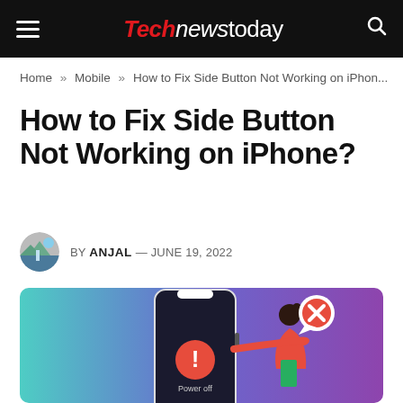Technewstoday
Home » Mobile » How to Fix Side Button Not Working on iPhon...
How to Fix Side Button Not Working on iPhone?
BY ANJAL — JUNE 19, 2022
[Figure (illustration): Illustration of a person pressing the side button of an iPhone showing a 'Power off' screen with an error icon, and a speech bubble with a red X symbol. Background is a teal-to-purple gradient.]